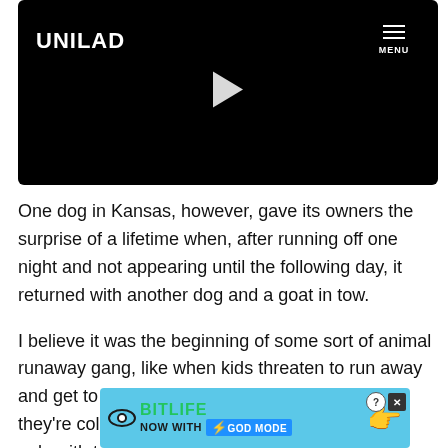[Figure (screenshot): UNILAD video player with black background, play button in center, MENU button top right]
One dog in Kansas, however, gave its owners the surprise of a lifetime when, after running off one night and not appearing until the following day, it returned with another dog and a goat in tow.
I believe it was the beginning of some sort of animal runaway gang, like when kids threaten to run away and get to the bottom of the road before realising they're cold and hungry and just go home again, only with two dogs a
[Figure (screenshot): BitLife advertisement banner with 'NOW WITH GOD MODE' text and hand pointing graphic]